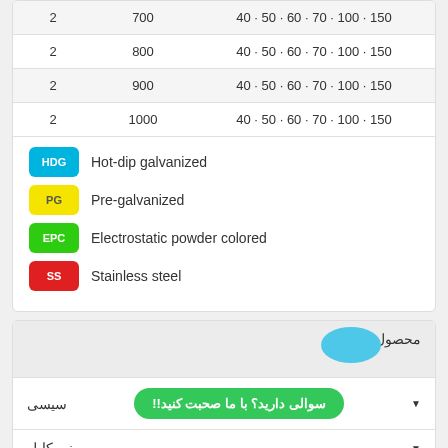| 2 | 700 | 40 · 50 · 60 · 70 · 100 · 150 |
| 2 | 800 | 40 · 50 · 60 · 70 · 100 · 150 |
| 2 | 900 | 40 · 50 · 60 · 70 · 100 · 150 |
| 2 | 1000 | 40 · 50 · 60 · 70 · 100 · 150 |
HDG  Hot-dip galvanized
PG  Pre-galvanized
EPC  Electrostatic powder colored
SS  Stainless steel
محصول
سیسی  سوالی دارید؟ با ما صحبت کنید!!
سینی کابل